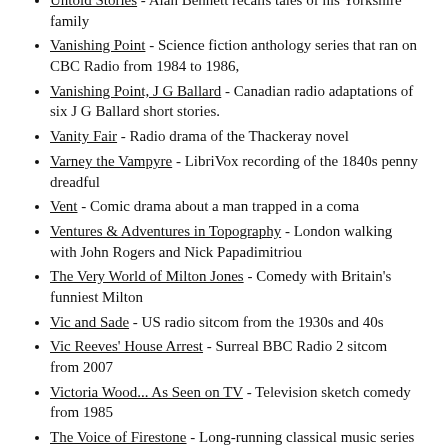Untold Stories - Alan Bennett recalls tales of his Yorkshire family
Vanishing Point - Science fiction anthology series that ran on CBC Radio from 1984 to 1986,
Vanishing Point, J G Ballard - Canadian radio adaptations of six J G Ballard short stories.
Vanity Fair - Radio drama of the Thackeray novel
Varney the Vampyre - LibriVox recording of the 1840s penny dreadful
Vent - Comic drama about a man trapped in a coma
Ventures & Adventures in Topography - London walking with John Rogers and Nick Papadimitriou
The Very World of Milton Jones - Comedy with Britain's funniest Milton
Vic and Sade - US radio sitcom from the 1930s and 40s
Vic Reeves' House Arrest - Surreal BBC Radio 2 sitcom from 2007
Victoria Wood... As Seen on TV - Television sketch comedy from 1985
The Voice of Firestone - Long-running classical music series